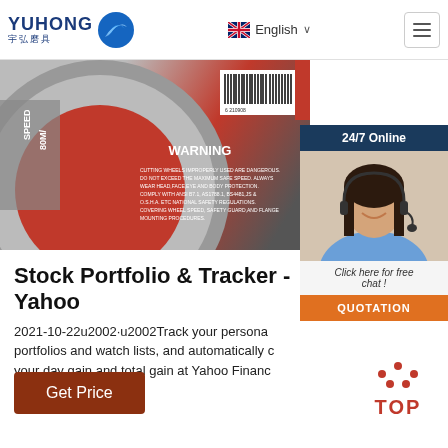YUHONG 宇弘磨具 — English
[Figure (photo): Grinding/cutting wheel product photo with WARNING label and barcode, partially cropped]
[Figure (infographic): 24/7 Online chat widget with customer service representative photo, 'Click here for free chat!' text, and QUOTATION button]
Stock Portfolio & Tracker - Yahoo
2021-10-22u2002·u2002Track your personal portfolios and watch lists, and automatically c your day gain and total gain at Yahoo Financ
[Figure (other): Get Price button (brown/rust colored)]
[Figure (other): TOP back-to-top button with dots icon]